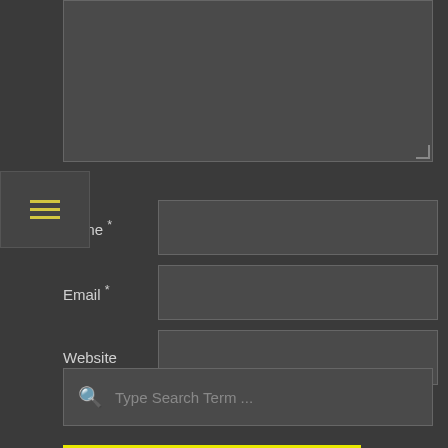[Figure (screenshot): Partially visible textarea input box at top of page]
[Figure (infographic): Hamburger menu icon with three yellow horizontal lines on dark background]
Name *
Email *
Website
Save my name, email, and website in this browser for the next time I comment.
POST COMMENT
Type Search Term ...